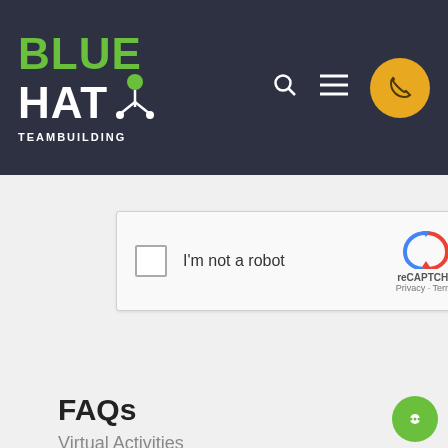[Figure (logo): Blue Hat Teambuilding logo with green BLUE text, white HAT text with molecule icon, and TEAMBUILDING text in white]
[Figure (screenshot): reCAPTCHA widget with checkbox, 'I'm not a robot' label, reCAPTCHA logo, Privacy and Terms links]
[Figure (other): Green Submit button]
FAQs
Virtual Activities